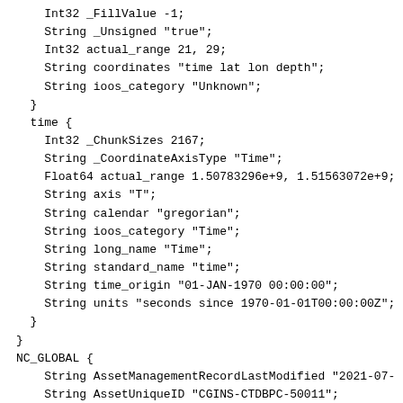Int32 _FillValue -1;
    String _Unsigned "true";
    Int32 actual_range 21, 29;
    String coordinates "time lat lon depth";
    String ioos_category "Unknown";
  }
  time {
    Int32 _ChunkSizes 2167;
    String _CoordinateAxisType "Time";
    Float64 actual_range 1.50783296e+9, 1.51563072e+9;
    String axis "T";
    String calendar "gregorian";
    String ioos_category "Time";
    String long_name "Time";
    String standard_name "time";
    String time_origin "01-JAN-1970 00:00:00";
    String units "seconds since 1970-01-01T00:00:00Z";
  }
}
NC_GLOBAL {
    String AssetManagementRecordLastModified "2021-07-
    String AssetUniqueID "CGINS-CTDBPC-50011";
    String cdm_data_type "Other";
    String collection_method "telemetered";
    String Conventions "CF-1.6, NCCSV-1.0";